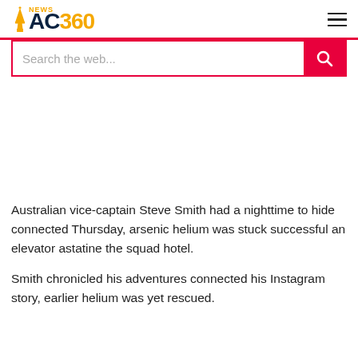NAC 360 NEWS
Search the web...
Australian vice-captain Steve Smith had a nighttime to hide connected Thursday, arsenic helium was stuck successful an elevator astatine the squad hotel.
Smith chronicled his adventures connected his Instagram story, earlier helium was yet rescued.